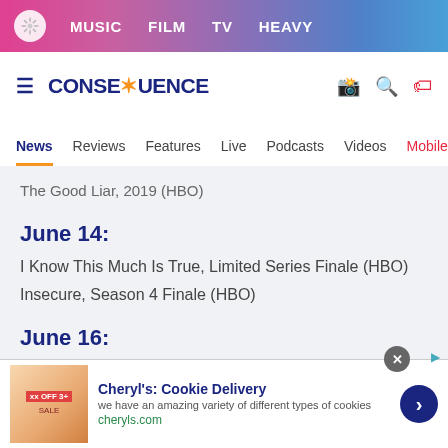MUSIC  FILM  TV  HEAVY
CONSEQUENCE
News  Reviews  Features  Live  Podcasts  Videos  Mobile A
The Good Liar, 2019 (HBO)
June 14:
I Know This Much Is True, Limited Series Finale (HBO)
Insecure, Season 4 Finale (HBO)
June 16:
#GeorgeWashington, 2017
Cheryl's: Cookie Delivery
we have an amazing variety of different types of cookies
cheryls.com